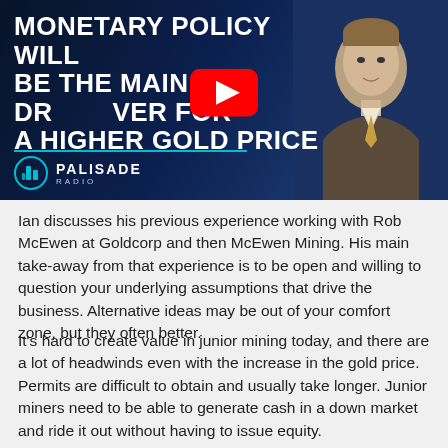[Figure (screenshot): YouTube video thumbnail for Palisade Radio featuring a man in a suit with gold tie against a blue city background. Bold white text reads 'MONETARY POLICY WILL BE THE MAIN DRIVER FOR A HIGHER GOLD PRICE'. A YouTube play button overlay is visible in the center. Palisade Radio logo at bottom left.]
Ian discusses his previous experience working with Rob McEwen at Goldcorp and then McEwen Mining. His main take-away from that experience is to be open and willing to question your underlying assumptions that drive the business. Alternative ideas may be out of your comfort zone, but they often better.
It's hard to create value in junior mining today, and there are a lot of headwinds even with the increase in the gold price. Permits are difficult to obtain and usually take longer. Junior miners need to be able to generate cash in a down market and ride it out without having to issue equity.